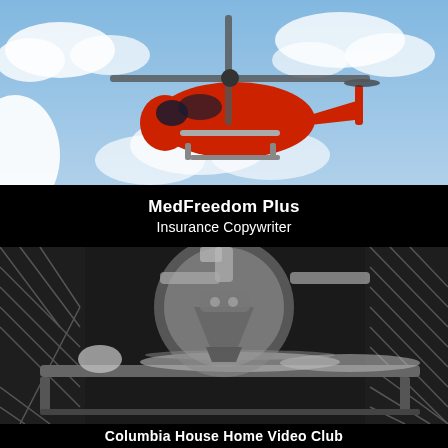[Figure (photo): Red Coast Guard helicopter flying against blue cloudy sky]
MedFreedom Plus
Insurance Copywriter
[Figure (photo): Black and white vintage photo of a patient lying on a medical examination table under a large X-ray or radiation machine]
Columbia House Home Video Club